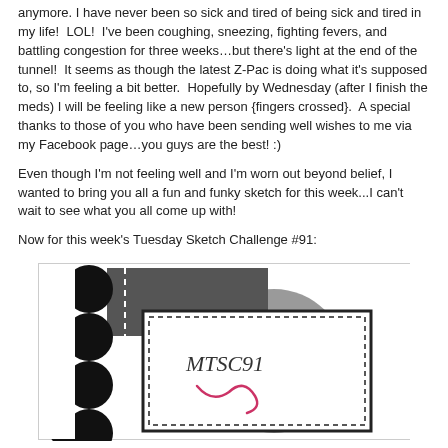anymore. I have never been so sick and tired of being sick and tired in my life! LOL! I've been coughing, sneezing, fighting fevers, and battling congestion for three weeks…but there's light at the end of the tunnel! It seems as though the latest Z-Pac is doing what it's supposed to, so I'm feeling a bit better. Hopefully by Wednesday (after I finish the meds) I will be feeling like a new person {fingers crossed}. A special thanks to those of you who have been sending well wishes to me via my Facebook page…you guys are the best! :)
Even though I'm not feeling well and I'm worn out beyond belief, I wanted to bring you all a fun and funky sketch for this week...I can't wait to see what you all come up with!
Now for this week's Tuesday Sketch Challenge #91:
[Figure (illustration): A card sketch diagram labeled MTSC91 showing a card layout with decorative black scallop border on the left, a dark gray rectangle at upper left, a large circle partially behind the card, a white layered card panel with dashed stitch line, and handwritten-style text 'MTSC91' with a decorative swirl below.]